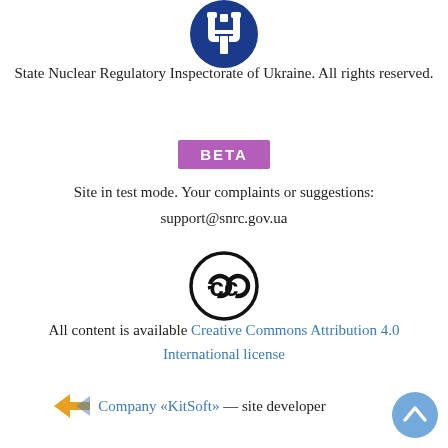[Figure (logo): Ukrainian state emblem (trident) in white on a blue circle background]
State Nuclear Regulatory Inspectorate of Ukraine. All rights reserved.
[Figure (other): BETA badge — purple/magenta rectangle with white bold text 'BETA']
Site in test mode. Your complaints or suggestions:
support@snrc.gov.ua
[Figure (logo): Creative Commons logo — CC inside a circle]
All content is available Creative Commons Attribution 4.0 International license
Company «KitSoft» — site developer